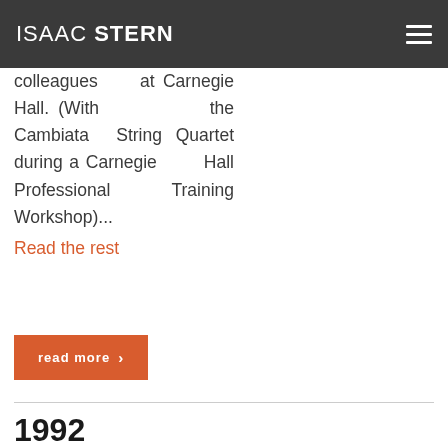ISAAC STERN
music workshop led by Isaac Stern and colleagues at Carnegie Hall. (With the Cambiata String Quartet during a Carnegie Hall Professional Training Workshop)...
Read the rest
read more ›
1992